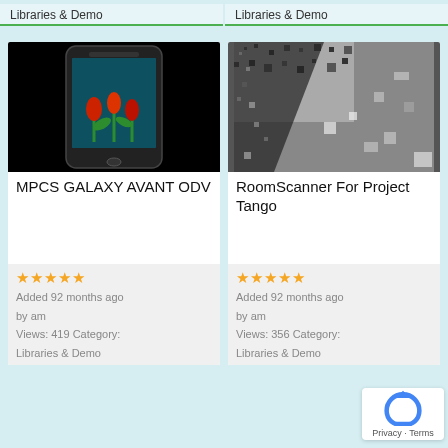Libraries & Demo
Libraries & Demo
[Figure (photo): Samsung smartphone with tulips on display against black background]
MPCS GALAXY AVANT ODV
★★★★★
Added 92 months ago
by am
Views: 419 Category:
Libraries & Demo
[Figure (photo): Room scan point cloud or 3D scan image - grayscale speckled pattern representing Project Tango room scan]
RoomScanner For Project Tango
★★★★★
Added 92 months ago
by am
Views: 356 Category:
Libraries & Demo